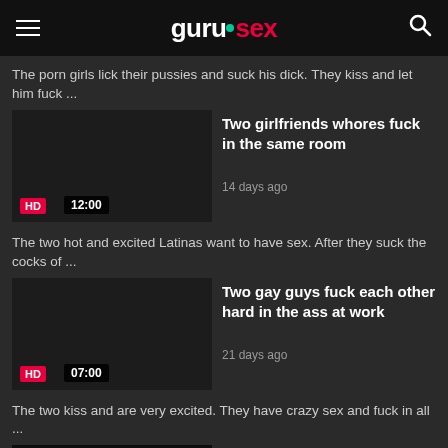gurusex
The porn girls lick their pussies and suck his dick. They kiss and let him fuck ...
Two girlfriends whores fuck in the same room
14 days ago
HD  12:00
The two hot and excited Latinas want to have sex. After they suck the cocks of ...
Two gay guys fuck each other hard in the ass at work
21 days ago
HD  07:00
The two kiss and are very excited. They have crazy sex and fuck in all ...
Young teenagers fuck for the first time